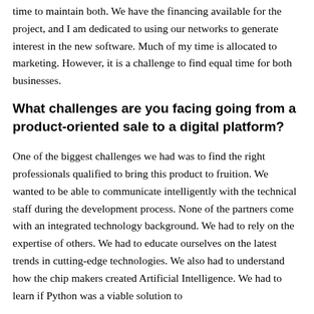time to maintain both. We have the financing available for the project, and I am dedicated to using our networks to generate interest in the new software. Much of my time is allocated to marketing. However, it is a challenge to find equal time for both businesses.
What challenges are you facing going from a product-oriented sale to a digital platform?
One of the biggest challenges we had was to find the right professionals qualified to bring this product to fruition. We wanted to be able to communicate intelligently with the technical staff during the development process. None of the partners come with an integrated technology background. We had to rely on the expertise of others. We had to educate ourselves on the latest trends in cutting-edge technologies. We also had to understand how the chip makers created Artificial Intelligence. We had to learn if Python was a viable solution to